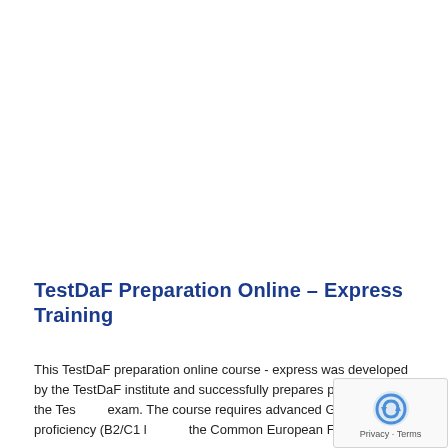TestDaF Preparation Online – Express Training
This TestDaF preparation online course - express was developed by the TestDaF institute and successfully prepares participants for the TestDaF exam. The course requires advanced German proficiency (B2/C1 level of the Common European Framework…